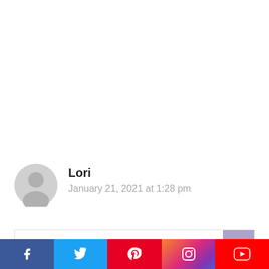[Figure (illustration): Generic user avatar icon (grey circle with person silhouette)]
Lori
January 21, 2021 at 1:28 pm
[Figure (screenshot): Comment input bar with a scroll-to-top button on the right]
[Figure (infographic): Social media share bar with icons: Facebook, Twitter, Pinterest, Instagram, YouTube]